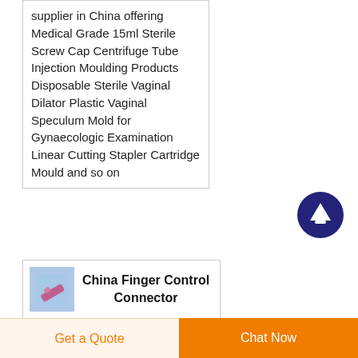supplier in China offering Medical Grade 15ml Sterile Screw Cap Centrifuge Tube Injection Moulding Products Disposable Sterile Vaginal Dilator Plastic Vaginal Speculum Mold for Gynaecologic Examination Linear Cutting Stapler Cartridge Mould and so on
[Figure (other): Dark blue circle button with white upward arrow, scroll-to-top UI element]
[Figure (photo): Small product thumbnail image showing a pink/purple finger control connector on a light blue background]
China Finger Control Connector Disposable Medical Sterile
Get a Quote   Chat Now